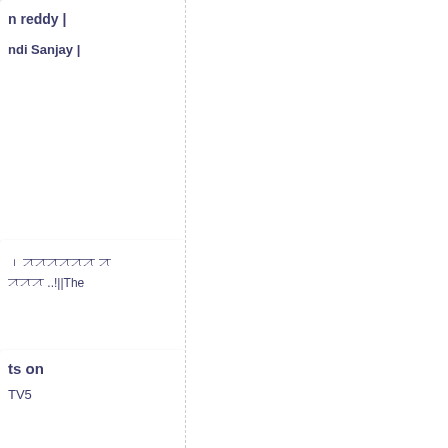n reddy |
ndi Sanjay |
। ꠀꠀꠀꠀꠀꠀ ꠀ
ꠀꠀꠀ ..!||The
ts on
TV5